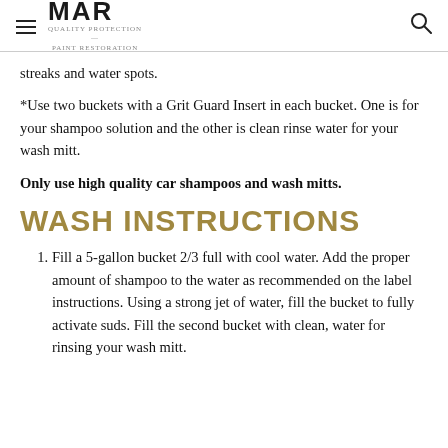MAR
streaks and water spots.
*Use two buckets with a Grit Guard Insert in each bucket. One is for your shampoo solution and the other is clean rinse water for your wash mitt.
Only use high quality car shampoos and wash mitts.
WASH INSTRUCTIONS
Fill a 5-gallon bucket 2/3 full with cool water. Add the proper amount of shampoo to the water as recommended on the label instructions. Using a strong jet of water, fill the bucket to fully activate suds. Fill the second bucket with clean, water for rinsing your wash mitt.